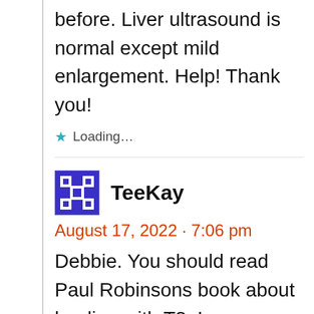before. Liver ultrasound is normal except mild enlargement. Help! Thank you!
★ Loading...
TeeKay
August 17, 2022 · 7:06 pm
Debbie. You should read Paul Robinsons book about healing with T3. I